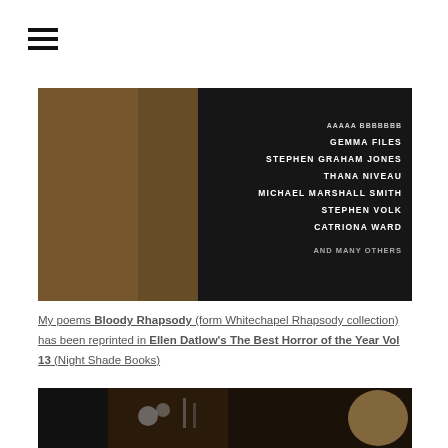[Figure (other): Hamburger menu icon (three horizontal black lines)]
[Figure (photo): Book cover image showing a dark horror anthology with text listing authors: GEMMA FILES, STEPHEN GRAHAM JONES, THANA NIVEAU, MICHAEL MARSHALL SMITH, STEPHEN VOLK, CATRIONA WARD, AND MANY OTHERS on a dark background with a figure on the left]
My poems Bloody Rhapsody (form Whitechapel Rhapsody collection) has been reprinted in Ellen Datlow's The Best Horror of the Year Vol 13 (Night Shade Books)
[Figure (photo): Bottom portion of book or publication covers with dark and illustrated artwork visible]